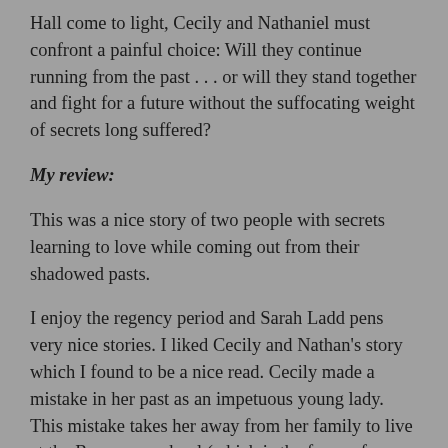Hall come to light, Cecily and Nathaniel must confront a painful choice: Will they continue running from the past . . . or will they stand together and fight for a future without the suffocating weight of secrets long suffered?
My review:
This was a nice story of two people with secrets learning to love while coming out from their shadowed pasts.
I enjoy the regency period and Sarah Ladd pens very nice stories. I liked Cecily and Nathan's story which I found to be a nice read. Cecily made a mistake in her past as an impetuous young lady. This mistake takes her away from her family to live at the Rosemere school (which is the focus of